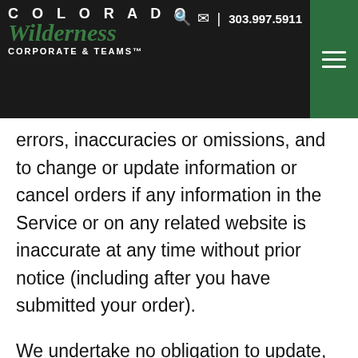COLORADO Wilderness CORPORATE & TEAMS™ | 303.997.5911
product descriptions, pricing, promotions, offers, product suitability, charges, transit times and availability. We reserve the right to correct any errors, inaccuracies or omissions, and to change or update information or cancel orders if any information in the Service or on any related website is inaccurate at any time without prior notice (including after you have submitted your order).
We undertake no obligation to update, amend or clarify information in the Service or on any related website, including without limitation, pricing information, except as required by law. No specified update or refresh date applied in the